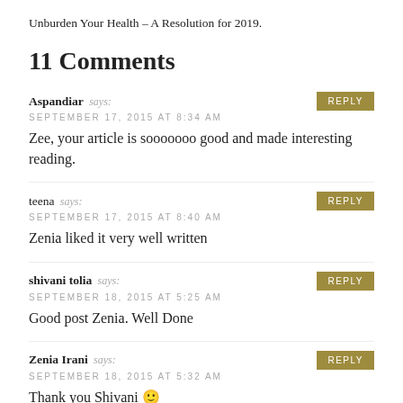Unburden Your Health – A Resolution for 2019.
11 Comments
Aspandiar says:
SEPTEMBER 17, 2015 AT 8:34 AM
Zee, your article is sooooooo good and made interesting reading.
teena says:
SEPTEMBER 17, 2015 AT 8:40 AM
Zenia liked it very well written
shivani tolia says:
SEPTEMBER 18, 2015 AT 5:25 AM
Good post Zenia. Well Done
Zenia Irani says:
SEPTEMBER 18, 2015 AT 5:32 AM
Thank you Shivani 🙂